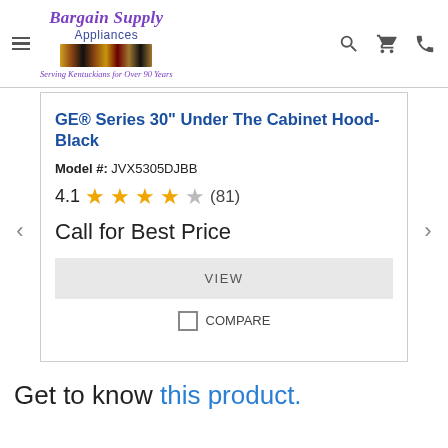[Figure (logo): Bargain Supply Appliances logo with tagline 'Serving Kentuckians for Over 90 Years']
GE® Series 30" Under The Cabinet Hood-Black
Model #: JVX5305DJBB
4.1 ★★★★☆ (81)
Call for Best Price
VIEW
COMPARE
Get to know this product.